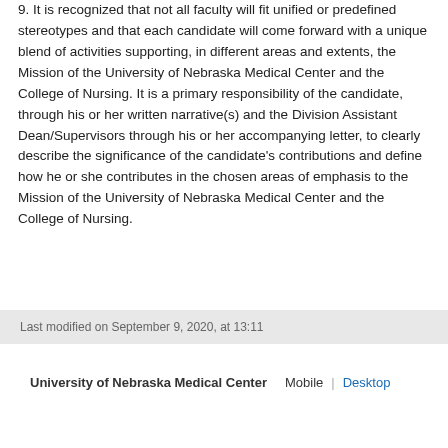9. It is recognized that not all faculty will fit unified or predefined stereotypes and that each candidate will come forward with a unique blend of activities supporting, in different areas and extents, the Mission of the University of Nebraska Medical Center and the College of Nursing. It is a primary responsibility of the candidate, through his or her written narrative(s) and the Division Assistant Dean/Supervisors through his or her accompanying letter, to clearly describe the significance of the candidate's contributions and define how he or she contributes in the chosen areas of emphasis to the Mission of the University of Nebraska Medical Center and the College of Nursing.
Last modified on September 9, 2020, at 13:11
University of Nebraska Medical Center  Mobile  |  Desktop